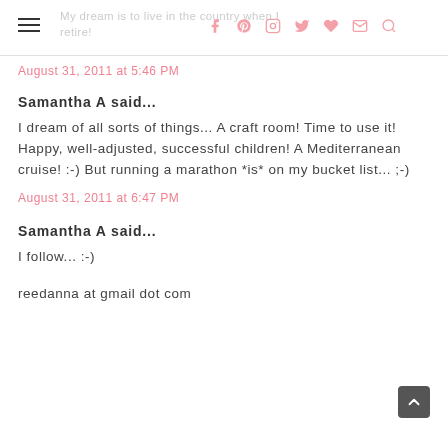My dream is to live in the country when I retire!
August 31, 2011 at 5:46 PM
Samantha A said...
I dream of all sorts of things... A craft room! Time to use it! Happy, well-adjusted, successful children! A Mediterranean cruise! :-) But running a marathon *is* on my bucket list... ;-)
August 31, 2011 at 6:47 PM
Samantha A said...
I follow... :-)
reedanna at gmail dot com